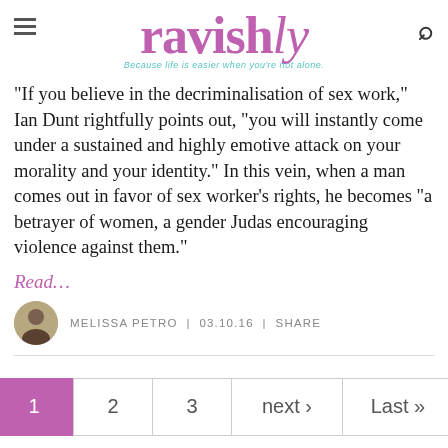ravishly — Because life is easier when you're not alone.
“If you believe in the decriminalisation of sex work,” Ian Dunt rightfully points out, “you will instantly come under a sustained and highly emotive attack on your morality and your identity.” In this vein, when a man comes out in favor of sex worker’s rights, he becomes “a betrayer of women, a gender Judas encouraging violence against them.”
Read…
MELISSA PETRO  |  03.10.16  |  SHARE
1  2  3  next ›  Last »